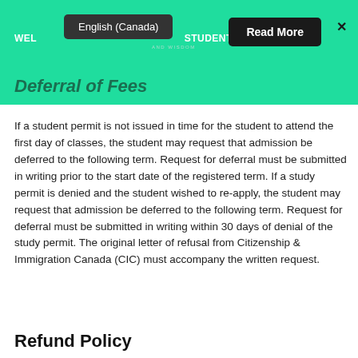WELCOME INTERNATIONAL STUDENTS!
Deferral of Fees
If a student permit is not issued in time for the student to attend the first day of classes, the student may request that admission be deferred to the following term. Request for deferral must be submitted in writing prior to the start date of the registered term. If a study permit is denied and the student wished to re-apply, the student may request that admission be deferred to the following term. Request for deferral must be submitted in writing within 30 days of denial of the study permit. The original letter of refusal from Citizenship & Immigration Canada (CIC) must accompany the written request.
Refund Policy